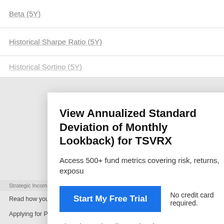Beta (5Y)
Historical Sharpe Ratio (5Y)
View Annualized Standard Deviation of Monthly Lookback) for TSVRX
Access 500+ fund metrics covering risk, returns, expos…
Start My Free Trial
No credit card required.
Already a subscriber? Sign in.
Read how you might use multi-assets to invest when inflation is high. abrdn…
Applying for PPP Loans Might Be Easier Than You Think. Discover More P…